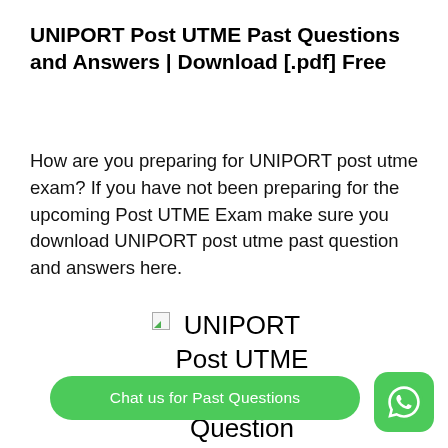UNIPORT Post UTME Past Questions and Answers | Download [.pdf] Free
How are you preparing for UNIPORT post utme exam? If you have not been preparing for the upcoming Post UTME Exam make sure you download UNIPORT post utme past question and answers here.
[Figure (illustration): UNIPORT Post UTME Past Question and (answers) book cover image with broken image icon placeholder]